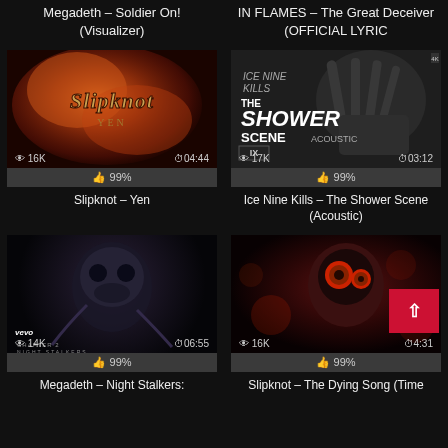Megadeth – Soldier On! (Visualizer)
IN FLAMES – The Great Deceiver (OFFICIAL LYRIC
[Figure (screenshot): Slipknot Yen music video thumbnail - fiery red/orange with Slipknot logo text. Views: 16K, Duration: 04:44, Likes: 99%]
[Figure (screenshot): Ice Nine Kills - The Shower Scene (Acoustic) thumbnail - dark grayscale with hand. Views: 17K, Duration: 03:12, Likes: 99%]
Slipknot – Yen
Ice Nine Kills – The Shower Scene (Acoustic)
[Figure (screenshot): Megadeth Night Stalkers video thumbnail - dark with skull/creature imagery. Vevo. Views: 14K, Duration: 06:55, Likes: 99%]
[Figure (screenshot): Slipknot The Dying Song (Time) thumbnail - dark red with masked figure. Views: 16K, Duration: 4:31, Likes: 99%]
Megadeth – Night Stalkers:
Slipknot – The Dying Song (Time